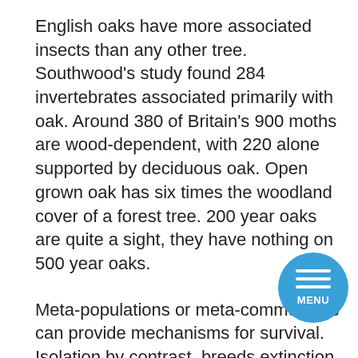English oaks have more associated insects than any other tree. Southwood's study found 284 invertebrates associated primarily with oak. Around 380 of Britain's 900 moths are wood-dependent, with 220 alone supported by deciduous oak. Open grown oak has six times the woodland cover of a forest tree. 200 year oaks are quite a sight, they have nothing on 500 year oaks.
Meta-populations or meta-communities can provide mechanisms for survival. Isolation by contrast, breeds extinction. It is fundamentally unnatural for that single pair of house martins in your village to be defying the community based rules by which their species evolved. Only birds in robust populations stand the test of time. For a shrike population to have a 95% chance of surviving for 50 years, in favourable conditions, you'd need 80-90 pairs in that population. So these population thresholds and viabilities have a...